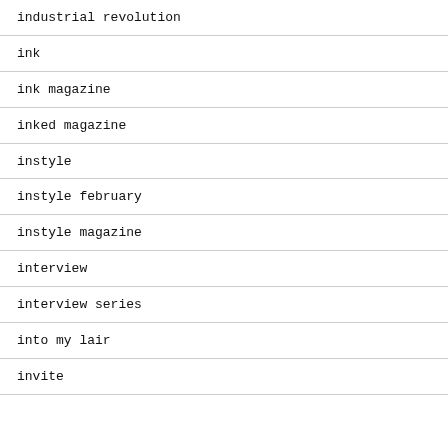industrial revolution
ink
ink magazine
inked magazine
instyle
instyle february
instyle magazine
interview
interview series
into my lair
invite